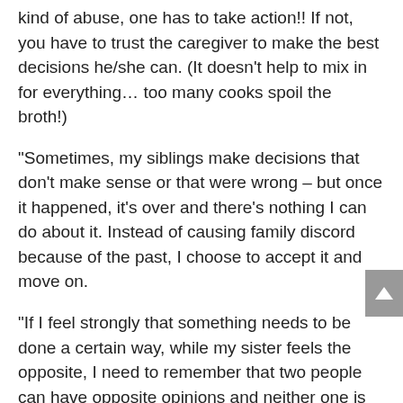kind of abuse, one has to take action!! If not, you have to trust the caregiver to make the best decisions he/she can. (It doesn't help to mix in for everything… too many cooks spoil the broth!)
“Sometimes, my siblings make decisions that don’t make sense or that were wrong – but once it happened, it’s over and there’s nothing I can do about it. Instead of causing family discord because of the past, I choose to accept it and move on.
“If I feel strongly that something needs to be done a certain way, while my sister feels the opposite, I need to remember that two people can have opposite opinions and neither one is wrong. For example, I feel that our Mom needs evaluation for depression, and my sister thinks I’m just imagining things. In this case (and in many other cases like this one), there is no danger to giving in and waiting some time before re-evaluating her condition. It gets